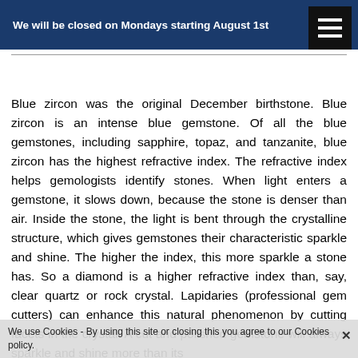We will be closed on Mondays starting August 1st
Blue zircon was the original December birthstone. Blue zircon is an intense blue gemstone. Of all the blue gemstones, including sapphire, topaz, and tanzanite, blue zircon has the highest refractive index. The refractive index helps gemologists identify stones. When light enters a gemstone, it slows down, because the stone is denser than air. Inside the stone, the light is bent through the crystalline structure, which gives gemstones their characteristic sparkle and shine. The higher the index, this more sparkle a stone has. So a diamond is a higher refractive index than, say, clear quartz or rock crystal. Lapidaries (professional gem cutters) can enhance this natural phenomenon by cutting facets in the crystal. A cut and polished gemstone will always sparkle and shine more than its...
We use Cookies - By using this site or closing this you agree to our Cookies policy.